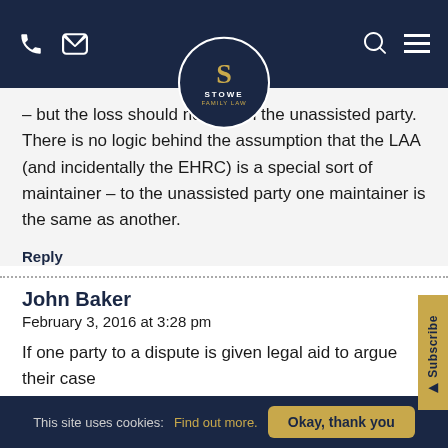[Figure (screenshot): Stowe Family Law website navigation bar with phone icon, mail icon, logo (S with STOWE FAMILY LAW), search icon, and hamburger menu icon on dark navy background]
– but the loss should not fall on the unassisted party. There is no logic behind the assumption that the LAA (and incidentally the EHRC) is a special sort of maintainer – to the unassisted party one maintainer is the same as another.
Reply
John Baker
February 3, 2016 at 3:28 pm
If one party to a dispute is given legal aid to argue their case
This site uses cookies: Find out more. Okay, thank you